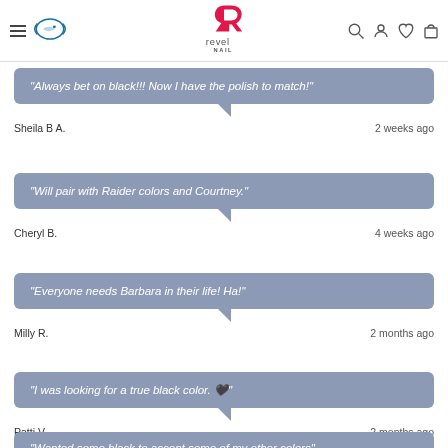Revel Nail website header with navigation icons
"Always bet on black!!! Now I have the polish to match!"
Sheila B A.    2 weeks ago
"Will pair with Raider colors and Courtney."
Cheryl B.    4 weeks ago
"Everyone needs Barbara in their life! Ha!"
Milly R.    2 months ago
"I was looking for a true black color. 🖤"
Patti V.    2 months ago
"Wanted some black to accent some of my other colors"